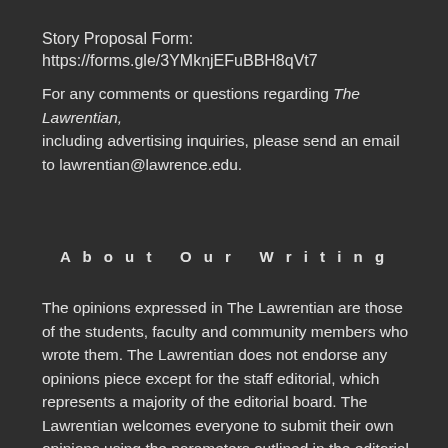Story Proposal Form: https://forms.gle/3YMknjEFuBBH8qVt7
For any comments or questions regarding The Lawrentian, including advertising inquiries, please send an email to lawrentian@lawrence.edu.
About Our Writing
The opinions expressed in The Lawrentian are those of the students, faculty and community members who wrote them. The Lawrentian does not endorse any opinions piece except for the staff editorial, which represents a majority of the editorial board. The Lawrentian welcomes everyone to submit their own opinions using the parameters outlined in the editorial policy.